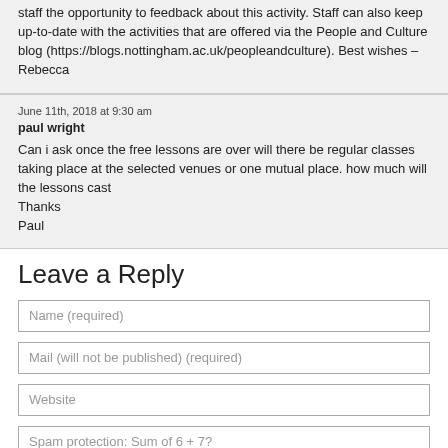staff the opportunity to feedback about this activity. Staff can also keep up-to-date with the activities that are offered via the People and Culture blog (https://blogs.nottingham.ac.uk/peopleandculture). Best wishes – Rebecca
June 11th, 2018 at 9:30 am
paul wright
Can i ask once the free lessons are over will there be regular classes taking place at the selected venues or one mutual place. how much will the lessons cast Thanks Paul
Leave a Reply
Name (required)
Mail (will not be published) (required)
Website
Spam protection: Sum of 6 + 7?